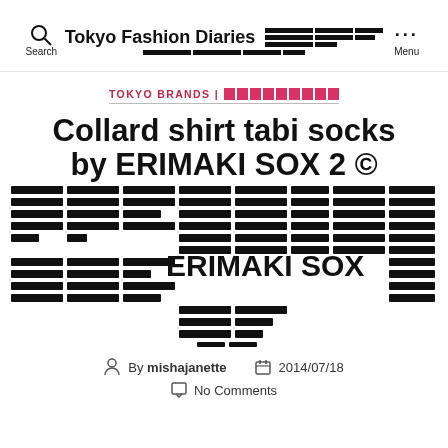Tokyo Fashion Diaries  Search  Menu
TOKYO BRANDS |
Collard shirt tabi socks by ERIMAKI SOX 2
[Figure (photo): Product photo of ERIMAKI SOX tabi socks with collared shirt design, showing Japanese text overlaid on the product image]
By mishajanette  2014/07/18  No Comments